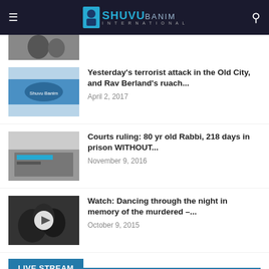SHUVU BANIM INTERNATIONAL
[Figure (photo): Partial thumbnail image at top, faces visible]
Yesterday's terrorist attack in the Old City, and Rav Berland's ruach...
April 2, 2017
Courts ruling: 80 yr old Rabbi, 218 days in prison WITHOUT...
November 9, 2016
Watch: Dancing through the night in memory of the murdered –...
October 9, 2015
LIVE STREAM
The livestream takes place every night sun-thu at around